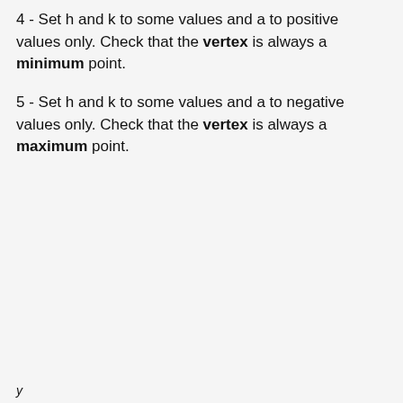4 - Set h and k to some values and a to positive values only. Check that the vertex is always a minimum point.
5 - Set h and k to some values and a to negative values only. Check that the vertex is always a maximum point.
y